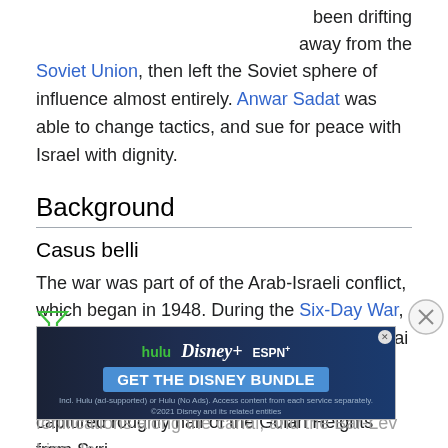been drifting away from the Soviet Union, then left the Soviet sphere of influence almost entirely. Anwar Sadat was able to change tactics, and sue for peace with Israel with dignity.
Background
Casus belli
The war was part of of the Arab-Israeli conflict, which began in 1948. During the Six-Day War, six years earlier, the Israelis captured the Sinai clear to the Suez Canal, which had become the cease-fire line. The Israelis had also captured roughly half of the Golan Heights from Syria
In the years following the war, Egypt constructed lines of fortifications along the canal, and the Bar-Lev Line. In 1971 Israel spent $500 million fortifying its positions on the Suez Canal, a chain of fortifications, and gigantic
[Figure (other): GET THE DISNEY BUNDLE advertisement banner featuring Hulu, Disney+, and ESPN+ logos]